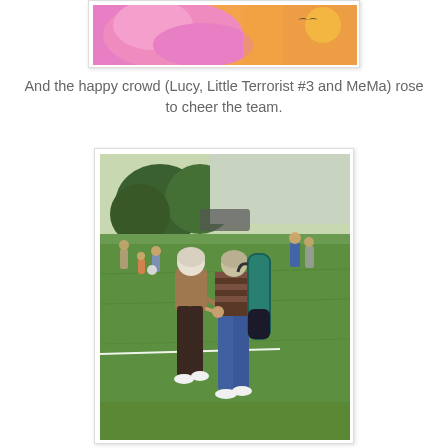[Figure (photo): Top portion of a photo showing people in pink clothing, partially visible at top of page]
And the happy crowd (Lucy, Little Terrorist #3 and MeMa) rose to cheer the team.
[Figure (photo): Two elderly people walking away from camera across a grass sports field. One person wears a brown top and dark trousers, the other wears a striped shirt and blue jeans and carries a large teal/green bag over their shoulder. Other people are visible in the background.]